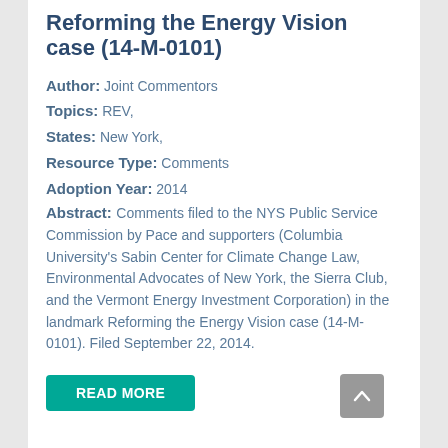Reforming the Energy Vision case (14-M-0101)
Author: Joint Commentors
Topics: REV,
States: New York,
Resource Type: Comments
Adoption Year: 2014
Abstract: Comments filed to the NYS Public Service Commission by Pace and supporters (Columbia University's Sabin Center for Climate Change Law, Environmental Advocates of New York, the Sierra Club, and the Vermont Energy Investment Corporation) in the landmark Reforming the Energy Vision case (14-M-0101). Filed September 22, 2014.
READ MORE